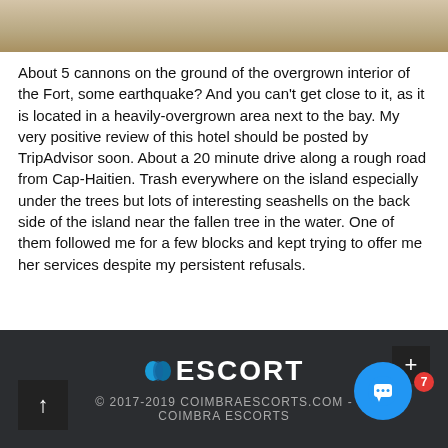[Figure (photo): Partial photo of a sandy/outdoor scene, cropped at top of page]
About 5 cannons on the ground of the overgrown interior of the Fort, some earthquake? And you can't get close to it, as it is located in a heavily-overgrown area next to the bay. My very positive review of this hotel should be posted by TripAdvisor soon. About a 20 minute drive along a rough road from Cap-Haitien. Trash everywhere on the island especially under the trees but lots of interesting seashells on the back side of the island near the fallen tree in the water. One of them followed me for a few blocks and kept trying to offer me her services despite my persistent refusals.
© 2017-2019 COIMBRAESCORTS.COM - COIMBRA ESCORTS